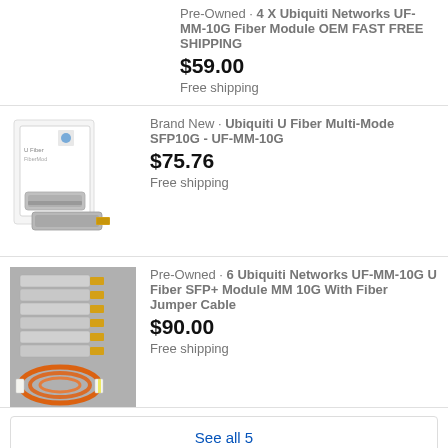Pre-Owned · 4 X Ubiquiti Networks UF-MM-10G Fiber Module OEM FAST FREE SHIPPING
$59.00
Free shipping
[Figure (photo): Ubiquiti U Fiber Multi-Mode SFP10G product box with two SFP modules in front]
Brand New · Ubiquiti U Fiber Multi-Mode SFP10G - UF-MM-10G
$75.76
Free shipping
[Figure (photo): Six Ubiquiti Networks UF-MM-10G SFP+ modules with orange fiber jumper cables on gray surface]
Pre-Owned · 6 Ubiquiti Networks UF-MM-10G U Fiber SFP+ Module MM 10G With Fiber Jumper Cable
$90.00
Free shipping
See all 5